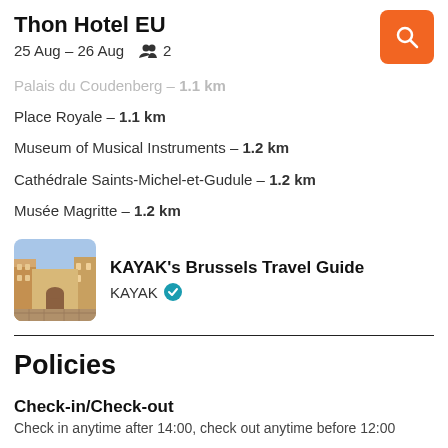Thon Hotel EU
25 Aug – 26 Aug  👥 2
Palais du Coudenberg – 1.1 km
Place Royale – 1.1 km
Museum of Musical Instruments – 1.2 km
Cathédrale Saints-Michel-et-Gudule – 1.2 km
Musée Magritte – 1.2 km
[Figure (photo): Brussels street scene thumbnail for KAYAK's Brussels Travel Guide]
KAYAK's Brussels Travel Guide
KAYAK ✓
Policies
Check-in/Check-out
Check in anytime after 14:00, check out anytime before 12:00